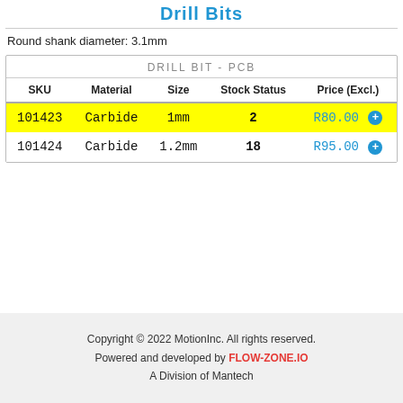Drill Bits
Round shank diameter: 3.1mm
| SKU | Material | Size | Stock Status | Price (Excl.) |
| --- | --- | --- | --- | --- |
| 101423 | Carbide | 1mm | 2 | R80.00 |
| 101424 | Carbide | 1.2mm | 18 | R95.00 |
Copyright © 2022 MotionInc. All rights reserved.
Powered and developed by FLOW-ZONE.IO
A Division of Mantech